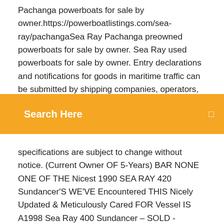Pachanga powerboats for sale by owner.https://powerboatlistings.com/sea-ray/pachangaSea Ray Pachanga preowned powerboats for sale by owner. Sea Ray used powerboats for sale by owner. Entry declarations and notifications for goods in maritime traffic can be submitted by shipping companies, operators, ship owners, forwarders, storage
Search Here
specifications are subject to change without notice. (Current Owner OF 5-Years) BAR NONE ONE OF THE Nicest 1990 SEA RAY 420 Sundancer'S WE'VE Encountered THIS Nicely Updated & Meticulously Cared FOR Vessel IS A1998 Sea Ray 400 Sundancer – SOLD - YouTubehttps://youtube.com/watch28. 4. 201511 tis. zhlédnutí(Current Owner OF 5-Years) Light Usage AND Nicely Equipped THIS CAT Diesel Powered 1998 SEA RAY 400 Sundancer WILL NOT LAST LONG – Please SEE FULL Specs FOR39 Sea Ray Express - Ютуб